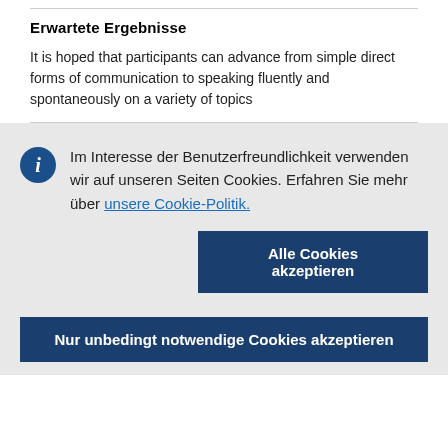Erwartete Ergebnisse
It is hoped that participants can advance from simple direct forms of communication to speaking fluently and spontaneously on a variety of topics
Im Interesse der Benutzerfreundlichkeit verwenden wir auf unseren Seiten Cookies. Erfahren Sie mehr über unsere Cookie-Politik.
Alle Cookies akzeptieren
Nur unbedingt notwendige Cookies akzeptieren